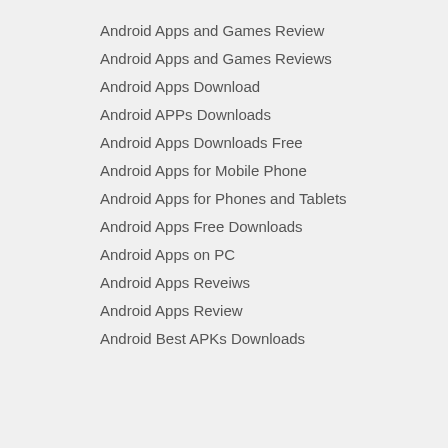Android Apps and Games Review
Android Apps and Games Reviews
Android Apps Download
Android APPs Downloads
Android Apps Downloads Free
Android Apps for Mobile Phone
Android Apps for Phones and Tablets
Android Apps Free Downloads
Android Apps on PC
Android Apps Reveiws
Android Apps Review
Android Best APKs Downloads